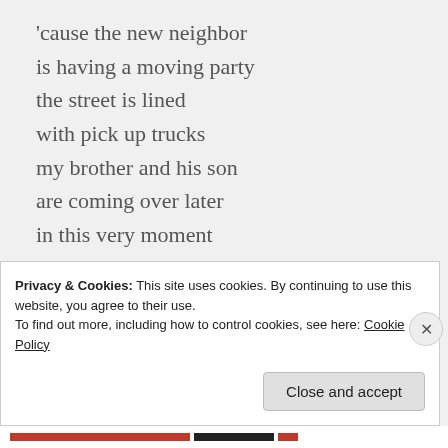'cause the new neighbor
is having a moving party
the street is lined
with pick up trucks
my brother and his son
are coming over later
in this very moment
life is good
thankful and blessed
smiling a l'il brighter
Privacy & Cookies: This site uses cookies. By continuing to use this website, you agree to their use. To find out more, including how to control cookies, see here: Cookie Policy
Close and accept